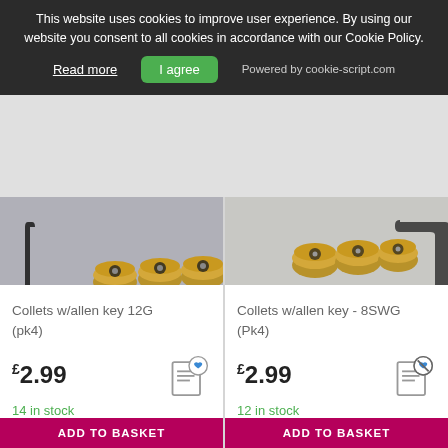This website uses cookies to improve user experience. By using our website you consent to all cookies in accordance with our Cookie Policy.
Read more  |  I agree  |  Powered by cookie-script.com
[Figure (photo): Photo of 4 brass collets with grub screws and a black allen key on grey background - 12G size]
Collets w/allen key 12G (pk4)
£2.99
14 in stock
ADD TO BASKET
[Figure (photo): Photo of 4 brass collets with grub screws and a black allen key on white/grey background - 8SWG size]
Collets w/allen key - 8SWG (Pk4)
£2.99
12 in stock
ADD TO BASKET